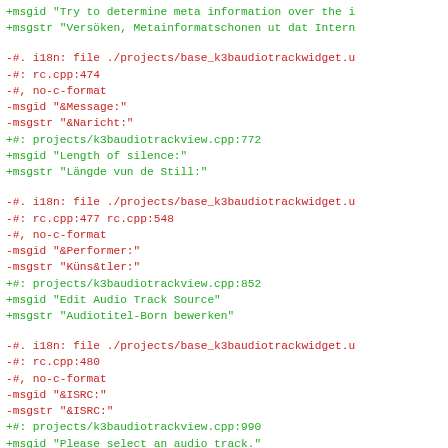+msgid "Try to determine meta information over the i
+msgstr "Versöken, Metainformatschonen ut dat Intern
-#. i18n: file ./projects/base_k3baudiotrackwidget.u
-#: rc.cpp:474
-#, no-c-format
-msgid "&Message:"
-msgstr "&Naricht:"
+#: projects/k3baudiotrackview.cpp:772
+msgid "Length of silence:"
+msgstr "Längde vun de Still:"
-#. i18n: file ./projects/base_k3baudiotrackwidget.u
-#: rc.cpp:477 rc.cpp:548
-#, no-c-format
-msgid "&Performer:"
-msgstr "Küns&tler:"
+#: projects/k3baudiotrackview.cpp:852
+msgid "Edit Audio Track Source"
+msgstr "Audiotitel-Born bewerken"
-#. i18n: file ./projects/base_k3baudiotrackwidget.u
-#: rc.cpp:480
-#, no-c-format
-msgid "&ISRC:"
-msgstr "&ISRC:"
+#: projects/k3baudiotrackview.cpp:990
+msgid "Please select an audio track."
+msgstr "Bitte en Audiotitel utsöken"